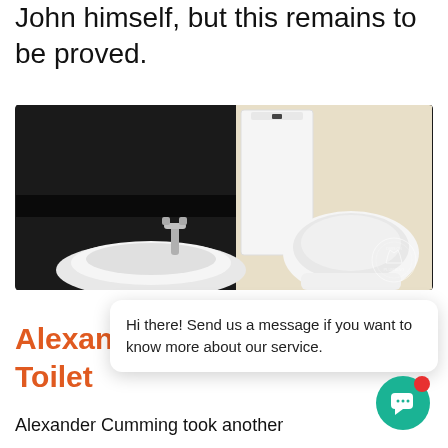John himself, but this remains to be proved.
[Figure (photo): Modern bathroom fixtures: a white toilet with separate tank and a white round washbasin on a dark countertop, with a chrome faucet. A plumbing services logo/watermark is visible in the lower right corner.]
Hi there! Send us a message if you want to know more about our service.
Alexander Cumming's Toilet
Alexander Cumming took another